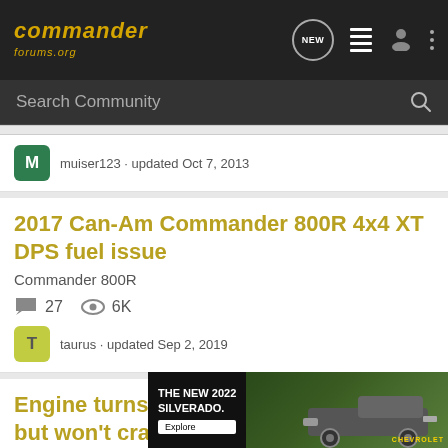[Figure (screenshot): Commander Forums website header with logo, NEW chat icon, list icon, user icon, and three-dot menu icon on dark background]
Search Community
muiser123 · updated Oct 7, 2013
2017 Can-Am Commander 800R 4x4 XT DPS fuel issue
Commander 800R
27  6K
taurus · updated Sep 2, 2019
Engine turns over, can hear fuel pump, but won't crank
Comma...
[Figure (photo): Chevrolet advertisement: THE NEW 2022 SILVERADO. with Explore button and truck image]